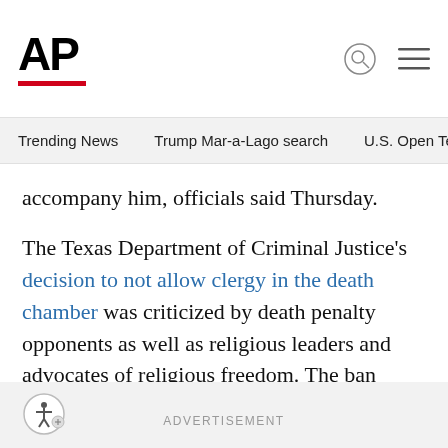AP
Trending News   Trump Mar-a-Lago search   U.S. Open Tennis
accompany him, officials said Thursday.
The Texas Department of Criminal Justice’s decision to not allow clergy in the death chamber was criticized by death penalty opponents as well as religious leaders and advocates of religious freedom. The ban followed the high court’s March 2019 ruling staying the execution of Patrick Murphy, a member of the “Texas 7” gang of escaped prisoners.
ADVERTISEMENT